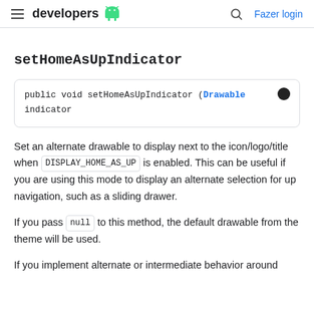developers  Fazer login
setHomeAsUpIndicator
public void setHomeAsUpIndicator (Drawable indicator
Set an alternate drawable to display next to the icon/logo/title when DISPLAY_HOME_AS_UP is enabled. This can be useful if you are using this mode to display an alternate selection for up navigation, such as a sliding drawer.
If you pass null to this method, the default drawable from the theme will be used.
If you implement alternate or intermediate behavior around